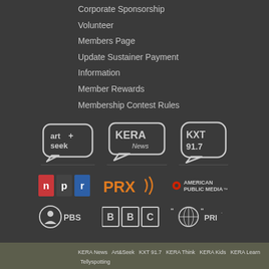Corporate Sponsorship
Volunteer
Members Page
Update Sustainer Payment
Information
Member Rewards
Membership Contest Rules
[Figure (logo): Art+Seek logo — speech bubble outline with art+seek text]
[Figure (logo): KERA News logo — speech bubble with KERA NEWS text]
[Figure (logo): KXT 91.7 logo — rounded square with KXT 91.7 text]
[Figure (logo): NPR logo — colored blocks n p r]
[Figure (logo): PRX logo — orange PRX with sound waves]
[Figure (logo): American Public Media logo]
[Figure (logo): PBS logo — circle with head and PBS text]
[Figure (logo): BBC logo — black boxes BBC text]
[Figure (logo): PRI logo — globe with quotation marks and PRI text]
KERA News  Art&Seek  KXT 91.7  KERA Think  KERA Kids  KERA Learn  Tellyspotting